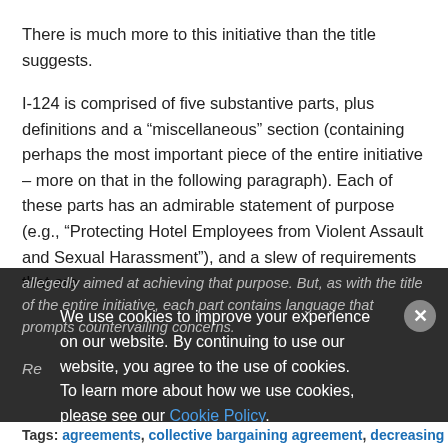There is much more to this initiative than the title suggests.
I-124 is comprised of five substantive parts, plus definitions and a “miscellaneous” section (containing perhaps the most important piece of the entire initiative – more on that in the following paragraph). Each of these parts has an admirable statement of purpose (e.g., “Protecting Hotel Employees from Violent Assault and Sexual Harassment”), and a slew of requirements that are
allegedly aimed at achieving that purpose. But, as with the title of the entire initiative, each part contains language that prompts countervailing concerns.
We use cookies to improve your experience on our website. By continuing to use our website, you agree to the use of cookies. To learn more about how we use cookies, please see our Cookie Policy.
Re
Tags: agreements, collective bargaining agreement, decreasing